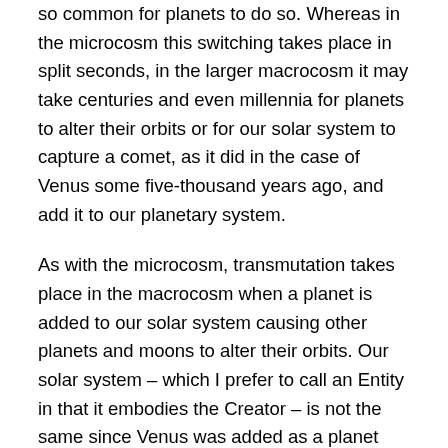so common for planets to do so. Whereas in the microcosm this switching takes place in split seconds, in the larger macrocosm it may take centuries and even millennia for planets to alter their orbits or for our solar system to capture a comet, as it did in the case of Venus some five-thousand years ago, and add it to our planetary system.
As with the microcosm, transmutation takes place in the macrocosm when a planet is added to our solar system causing other planets and moons to alter their orbits. Our solar system – which I prefer to call an Entity in that it embodies the Creator – is not the same since Venus was added as a planet and Mars changed its orbit when these two planets collided with one another in our historical past. Our planet Earth is not the same either: its orbit was altered and the direction of its rotation was reversed when